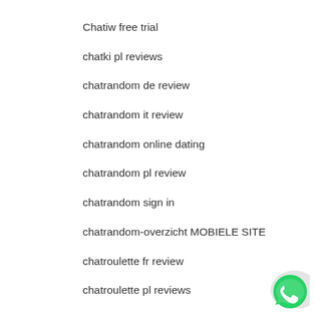Chatiw free trial
chatki pl reviews
chatrandom de review
chatrandom it review
chatrandom online dating
chatrandom pl review
chatrandom sign in
chatrandom-overzicht MOBIELE SITE
chatroulette fr review
chatroulette pl reviews
[Figure (logo): WhatsApp green logo button in bottom right corner]